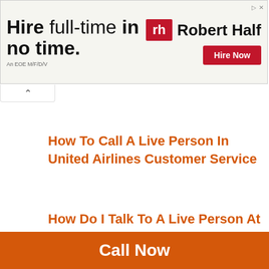[Figure (other): Robert Half advertisement banner: 'Hire full-time in no time. An EOE M/F/D/V' with Robert Half logo and 'Hire Now' button]
How To Call A Live Person In United Airlines Customer Service
How Do I Talk To A Live Person At Delta Airlines Customer Service
Call Now